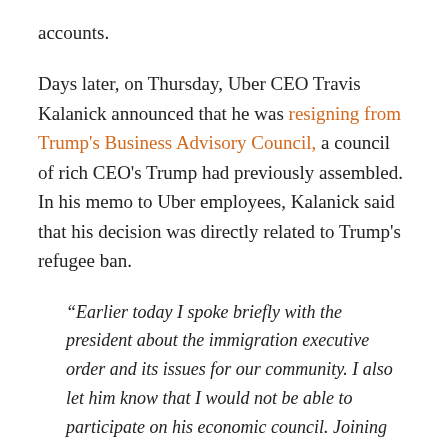accounts.
Days later, on Thursday, Uber CEO Travis Kalanick announced that he was resigning from Trump's Business Advisory Council, a council of rich CEO's Trump had previously assembled. In his memo to Uber employees, Kalanick said that his decision was directly related to Trump's refugee ban.
“Earlier today I spoke briefly with the president about the immigration executive order and its issues for our community. I also let him know that I would not be able to participate on his economic council. Joining the group was not meant to be an endorsement of the president or his agenda but unfortunately it has been misinterpreted to be